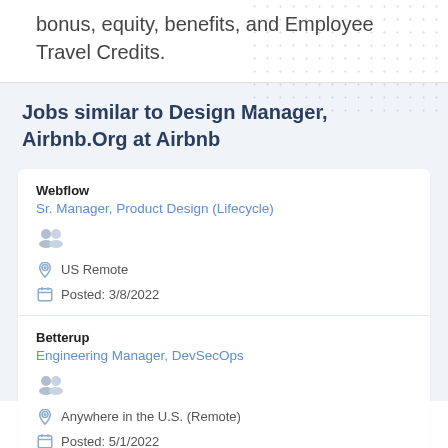bonus, equity, benefits, and Employee Travel Credits.
Jobs similar to Design Manager, Airbnb.Org at Airbnb
Webflow
Sr. Manager, Product Design (Lifecycle)
US Remote
Posted: 3/8/2022
Betterup
Engineering Manager, DevSecOps
Anywhere in the U.S. (Remote)
Posted: 5/1/2022